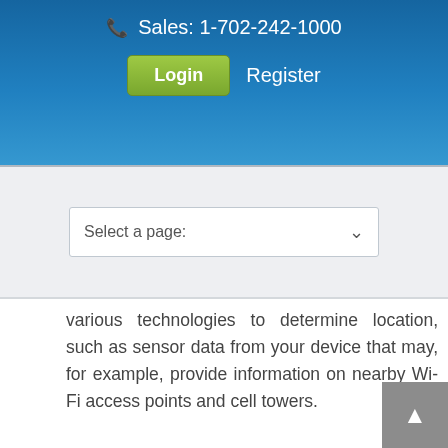Sales: 1-702-242-1000  Login  Register
Select a page:
various technologies to determine location, such as sensor data from your device that may, for example, provide information on nearby Wi-Fi access points and cell towers.
Unique application numbers.
Certain services include a unique application number. This number and